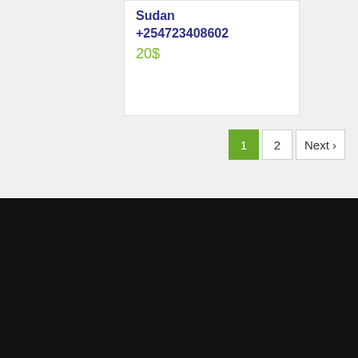Sudan
+254723408602
20$
1  2  Next >
CONTACTS
+254 (20) 2245564
+254 (723) 408602
+254 (723) 957180
info@mensmaxsuppliments.com
Chat with us